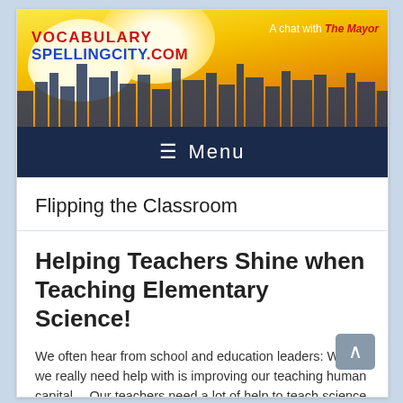[Figure (screenshot): VocabularySpellingCity.com website banner with logo, cityscape skyline, and text 'A chat with The Mayor']
≡  Menu
Flipping the Classroom
Helping Teachers Shine when Teaching Elementary Science!
We often hear from school and education leaders: What we really need help with is improving our teaching human capital… Our teachers need a lot of help to teach science and science inquiry, especially at the younger grades. At our